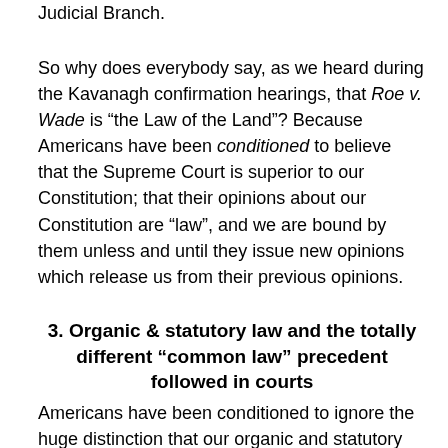Constitution doesn't grant any lawmaking powers to the Judicial Branch.
So why does everybody say, as we heard during the Kavanagh confirmation hearings, that Roe v. Wade is “the Law of the Land”? Because Americans have been conditioned to believe that the Supreme Court is superior to our Constitution; that their opinions about our Constitution are “law”, and we are bound by them unless and until they issue new opinions which release us from their previous opinions.
3. Organic & statutory law and the totally different “common law” precedent followed in courts
Americans have been conditioned to ignore the huge distinction that our organic and statutory laws on the